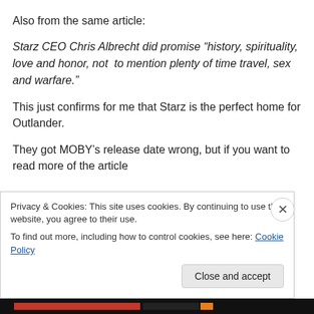Also from the same article:
Starz CEO Chris Albrecht did promise “history, spirituality, love and honor, not  to mention plenty of time travel, sex and warfare.”
This just confirms for me that Starz is the perfect home for Outlander.
They got MOBY’s release date wrong, but if you want to read more of the article
Privacy & Cookies: This site uses cookies. By continuing to use this website, you agree to their use.
To find out more, including how to control cookies, see here: Cookie Policy